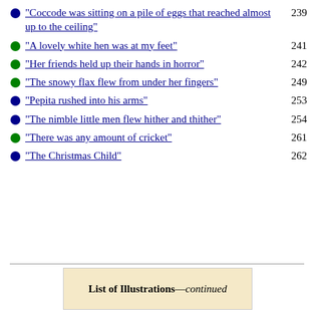"Coccode was sitting on a pile of eggs that reached almost up to the ceiling" 239
"A lovely white hen was at my feet" 241
"Her friends held up their hands in horror" 242
"The snowy flax flew from under her fingers" 249
"Pepita rushed into his arms" 253
"The nimble little men flew hither and thither" 254
"There was any amount of cricket" 261
"The Christmas Child" 262
List of Illustrations—continued